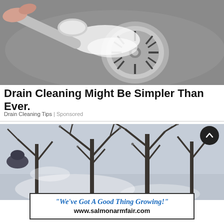[Figure (photo): Close-up photo of a hand using a spoon to pour white powder (baking soda) into a stainless steel sink drain]
Drain Cleaning Might Be Simpler Than Ever.
Drain Cleaning Tips | Sponsored
[Figure (photo): Outdoor photo of a person wearing a cap looking at bare winter orchard trees with blossoms beginning to appear]
"We've Got A Good Thing Growing!" www.salmonarmfair.com